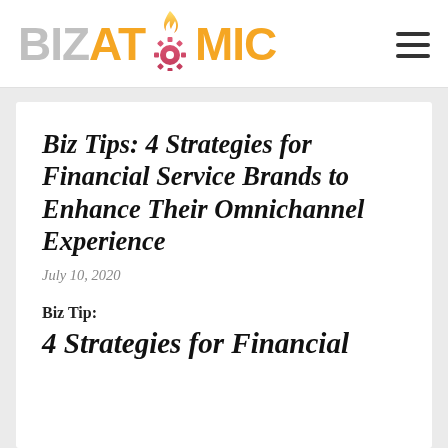BIZ ATOMIC
Biz Tips: 4 Strategies for Financial Service Brands to Enhance Their Omnichannel Experience
July 10, 2020
Biz Tip:
4 Strategies for Financial